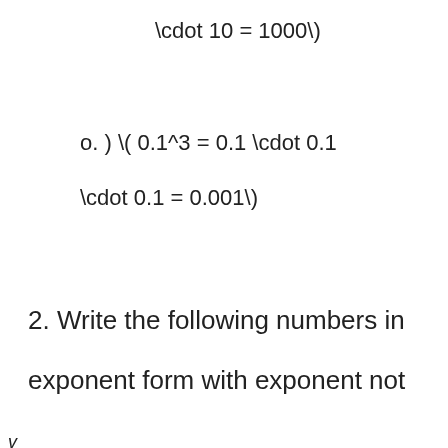o. ) \( 0.1^3 = 0.1 \cdot 0.1
2. Write the following numbers in
exponent form with exponent not
v